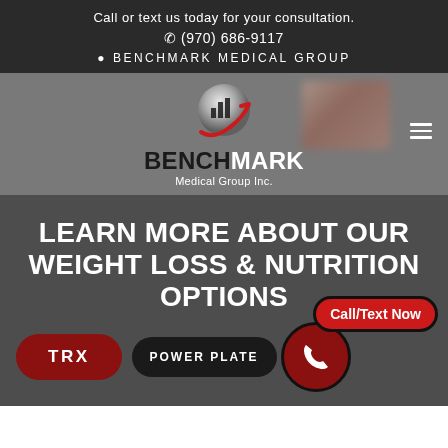Call or text us today for your consultation.
📞 (970) 686-9117
📍 BENCHMARK MEDICAL GROUP
[Figure (logo): Benchmark Medical Group Inc. logo with silver globe icon showing bar chart, red swoosh arrow, bold text BENCHMARK Medical Group Inc.]
LEARN MORE ABOUT OUR WEIGHT LOSS & NUTRITION OPTIONS
Call/Text Now
TRX
POWER PLATE